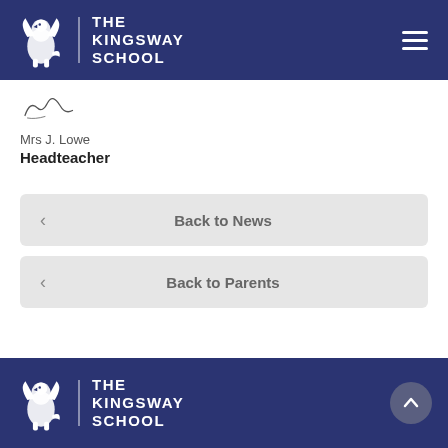THE KINGSWAY SCHOOL
[Figure (illustration): Handwritten signature of Mrs J. Lowe]
Mrs J. Lowe
Headteacher
< Back to News
< Back to Parents
THE KINGSWAY SCHOOL